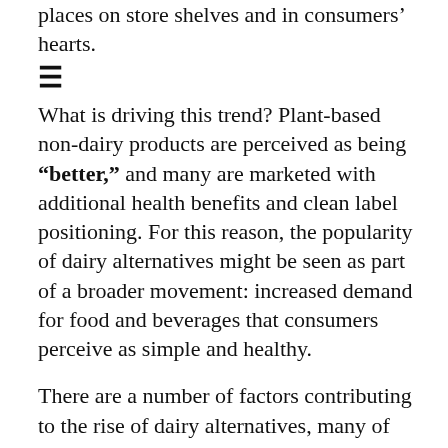places on store shelves and in consumers' hearts.
≡
What is driving this trend? Plant-based non-dairy products are perceived as being "better," and many are marketed with additional health benefits and clean label positioning. For this reason, the popularity of dairy alternatives might be seen as part of a broader movement: increased demand for food and beverages that consumers perceive as simple and healthy.
There are a number of factors contributing to the rise of dairy alternatives, many of which are stronger motivators in certain regions and among specific populations. For example, while lactose intolerance is less common in North America, Australia, and Europe, it is extremely common throughout South America, Africa, and Asia.
A study by TATE&LYLE found that in the US, even non-